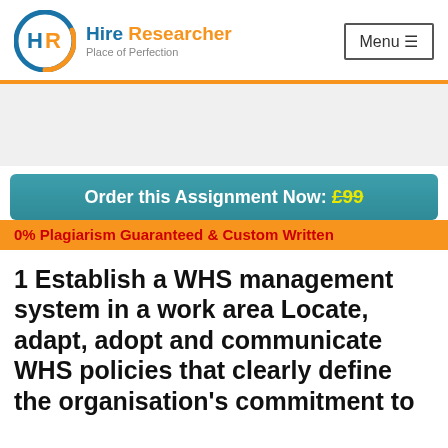[Figure (logo): Hire Researcher logo with circular HR icon in blue and orange, text 'Hire Researcher' in blue and orange, tagline 'Place of Perfection' in gray]
Menu ☰
Order this Assignment Now: £99
0% Plagiarism Guaranteed & Custom Written
1 Establish a WHS management system in a work area Locate, adapt, adopt and communicate WHS policies that clearly define the organisation's commitment to